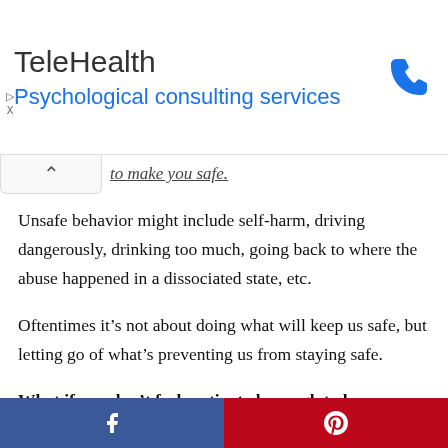[Figure (infographic): TeleHealth advertisement banner with blue phone icon. Title: TeleHealth, subtitle: Psychological consulting services]
Unsafe behavior might include self-harm, driving dangerously, drinking too much, going back to where the abuse happened in a dissociated state, etc.
Oftentimes it’s not about doing what will keep us safe, but letting go of what’s preventing us from staying safe.
What if you don’t feel motivated enough to keep yourself safe? What if you don’t care if you’re not
[Figure (infographic): Social sharing bar with Facebook (blue) and Pinterest (red) buttons]